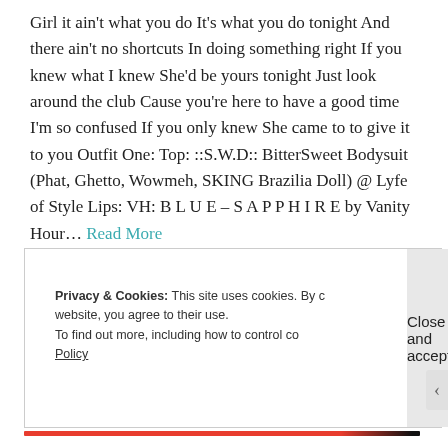Girl it ain't what you do It's what you do tonight And there ain't no shortcuts In doing something right If you knew what I knew She'd be yours tonight Just look around the club Cause you're here to have a good time I'm so confused If you only knew She came to to give it to you Outfit One: Top: ::S.W.D:: BitterSweet Bodysuit (Phat, Ghetto, Wowmeh, SKING Brazilia Doll) @ Lyfe of Style Lips: VH: B L U E – S A P P H I R E by Vanity Hour… Read More
Privacy & Cookies: This site uses cookies. By continuing to use this website, you agree to their use.
To find out more, including how to control cookies, see here: Cookie Policy
Close and accept